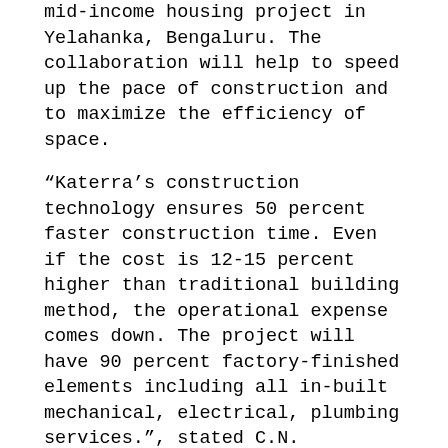mid-income housing project in Yelahanka, Bengaluru. The collaboration will help to speed up the pace of construction and to maximize the efficiency of space.
“Katerra’s construction technology ensures 50 percent faster construction time. Even if the cost is 12-15 percent higher than traditional building method, the operational expense comes down. The project will have 90 percent factory-finished elements including all in-built mechanical, electrical, plumbing services.”, stated C.N. Govindaraju, Founder & Managing Director, Vaishnavi Group.
Katerra tied-up with the Embassy Group for it’s 1.6 million sq. ft commercial office building in the Embassy Tech Village. Both projects of Embassy